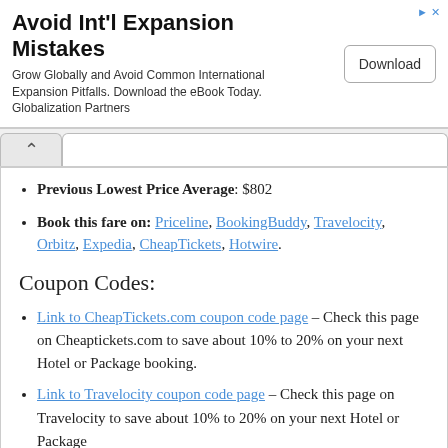[Figure (other): Advertisement banner: 'Avoid Int'l Expansion Mistakes' with text 'Grow Globally and Avoid Common International Expansion Pitfalls. Download the eBook Today. Globalization Partners' and a Download button]
Previous Lowest Price Average: $802
Book this fare on: Priceline, BookingBuddy, Travelocity, Orbitz, Expedia, CheapTickets, Hotwire.
Coupon Codes:
Link to CheapTickets.com coupon code page – Check this page on Cheaptickets.com to save about 10% to 20% on your next Hotel or Package booking.
Link to Travelocity coupon code page – Check this page on Travelocity to save about 10% to 20% on your next Hotel or Package